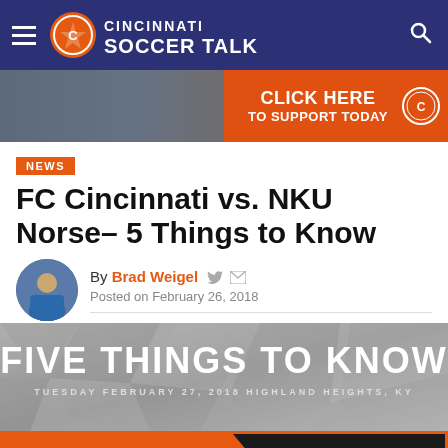Cincinnati Soccer Talk
[Figure (screenshot): Banner advertisement: crowd photo with orange overlay and 'CLICK HERE TO SUPPORT TODAY' call to action]
NEWS
FC Cincinnati vs. NKU Norse– 5 Things to Know
By Brad Weigel  Posted on February 26, 2018
[Figure (infographic): Five Things To Know graphic with geometric gray background, Tuesday February 27, 2018, Highland Heights, KY]
[Figure (infographic): Matchup bar: FC CINCINNATI v NKU NORSE in orange and black]